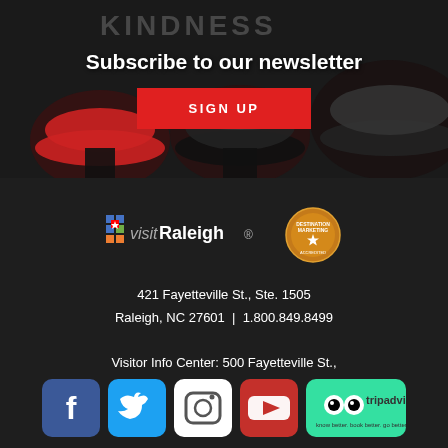Subscribe to our newsletter
SIGN UP
[Figure (logo): visitRaleigh logo with colorful pixel star design]
[Figure (logo): Destination Marketing accreditation badge/seal]
421 Fayetteville St., Ste. 1505
Raleigh, NC 27601  |  1.800.849.8499

Visitor Info Center: 500 Fayetteville St.,
Raleigh, NC 27601  |  1.800.849.8499
[Figure (logo): Facebook social media icon - blue square with white f]
[Figure (logo): Twitter social media icon - blue square with white bird]
[Figure (logo): Instagram social media icon - white square with camera outline]
[Figure (logo): YouTube social media icon - red square with white play button]
[Figure (logo): TripAdvisor logo - green rectangle with owl eyes and text]